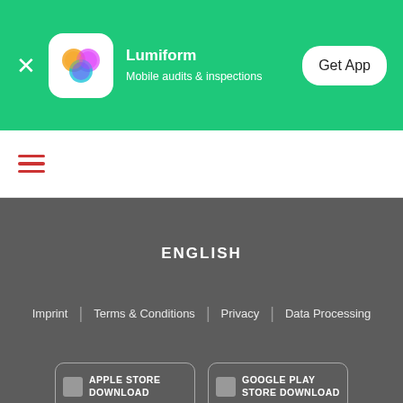[Figure (screenshot): Lumiform app banner with green background showing app icon, name, subtitle and Get App button]
[Figure (infographic): Hamburger menu icon with three red horizontal lines]
ENGLISH
Imprint | Terms & Conditions | Privacy | Data Processing
[Figure (screenshot): Apple Store Download button]
[Figure (screenshot): Google Play Store Download button]